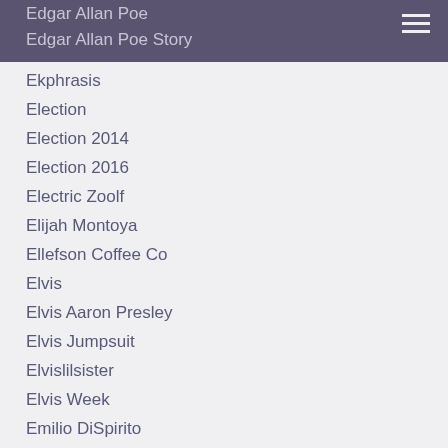Edgar Allan Poe
Edgar Allan Poe Story
Ekphrasis
Election
Election 2014
Election 2016
Electric Zoolf
Elijah Montoya
Ellefson Coffee Co
Elvis
Elvis Aaron Presley
Elvis Jumpsuit
Elvislilsister
Elvis Week
Emilio DiSpirito
Employment-at-will
End Marijuana Prohibition
Eric Palmieri
Events
Famous Monsters
Famous Musicians